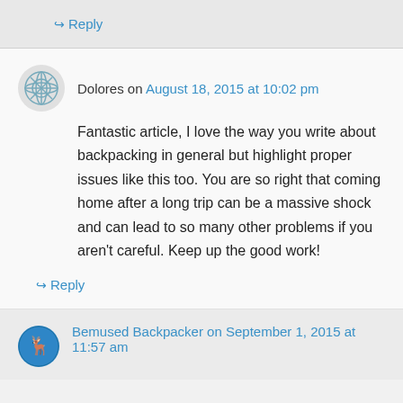↪ Reply
Dolores on August 18, 2015 at 10:02 pm
Fantastic article, I love the way you write about backpacking in general but highlight proper issues like this too. You are so right that coming home after a long trip can be a massive shock and can lead to so many other problems if you aren't careful. Keep up the good work!
↪ Reply
Bemused Backpacker on September 1, 2015 at 11:57 am